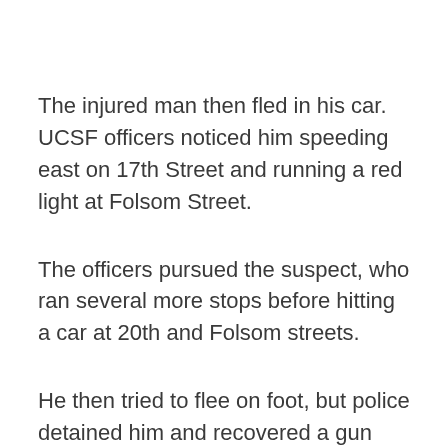The injured man then fled in his car. UCSF officers noticed him speeding east on 17th Street and running a red light at Folsom Street.
The officers pursued the suspect, who ran several more stops before hitting a car at 20th and Folsom streets.
He then tried to flee on foot, but police detained him and recovered a gun from the vehicle. Police said they also found a gun at Valencia Gardens.